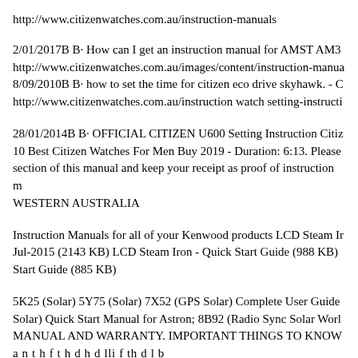http://www.citizenwatches.com.au/instruction-manuals
2/01/2017B B· How can I get an instruction manual for AMST AM3 http://www.citizenwatches.com.au/images/content/instruction-manua 8/09/2010B B· how to set the time for citizen eco drive skyhawk. - C http://www.citizenwatches.com.au/instruction watch setting-instructi
28/01/2014B B· OFFICIAL CITIZEN U600 Setting Instruction Citiz 10 Best Citizen Watches For Men Buy 2019 - Duration: 6:13. Please section of this manual and keep your receipt as proof of instruction m WESTERN AUSTRALIA
Instruction Manuals for all of your Kenwood products LCD Steam Ir Jul-2015 (2143 KB) LCD Steam Iron - Quick Start Guide (988 KB) Start Guide (885 KB)
5K25 (Solar) 5Y75 (Solar) 7X52 (GPS Solar) Complete User Guide Solar) Quick Start Manual for Astron; 8B92 (Radio Sync Solar Worl MANUAL AND WARRANTY. IMPORTANT THINGS TO KNOW a n t h f t h d h d lli f th d l b